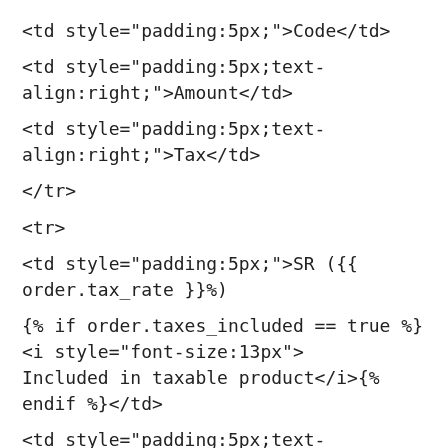<td style="padding:5px;">Code</td>
<td style="padding:5px;text-align:right;">Amount</td>
<td style="padding:5px;text-align:right;">Tax</td>
</tr>
<tr>
<td style="padding:5px;">SR ({{ order.tax_rate }}%)
{% if order.taxes_included == true %}<i style="font-size:13px">Included in taxable product</i>{% endif %}</td>
<td style="padding:5px;text-align:right;">{{ order.total_taxable_item_price }}</td>
<td style="padding:5px;text-align:right;">{{ order.total_taxable_item_tax }}</td>
</tr>
<tr>
<td style="padding:5px;"> ZR (0%) </td>